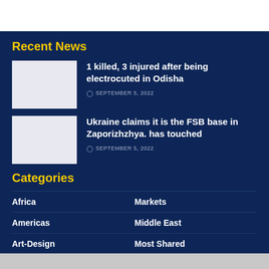Recent News
[Figure (photo): Thumbnail image placeholder for news article 1]
1 killed, 3 injured after being electrocuted in Odisha
SEPTEMBER 5, 2022
[Figure (photo): Thumbnail image placeholder for news article 2]
Ukraine claims it is the FSB base in Zaporizhzhya. has touched
SEPTEMBER 5, 2022
Categories
Africa
Markets
Americas
Middle East
Art-Design
Most Shared